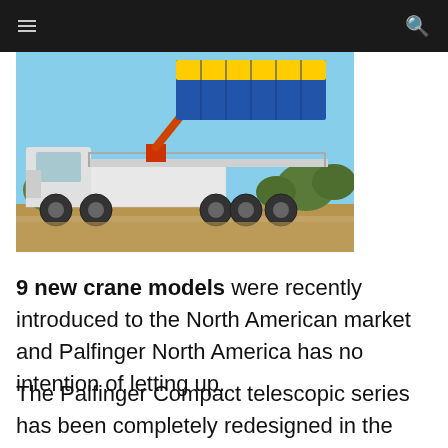[Figure (photo): A white flatbed truck with a red/orange knuckle-boom crane mounted on it, lifting a large yellow and blue shipping container. The truck is on a dirt/gravel surface with trees in the background under a blue sky.]
9 new crane models were recently introduced to the North American market and Palfinger North America has no intention of letting up.
The Palfinger Compact telescopic series has been completely redesigned in the performance class up to four metre tonnes. The new models offer up to